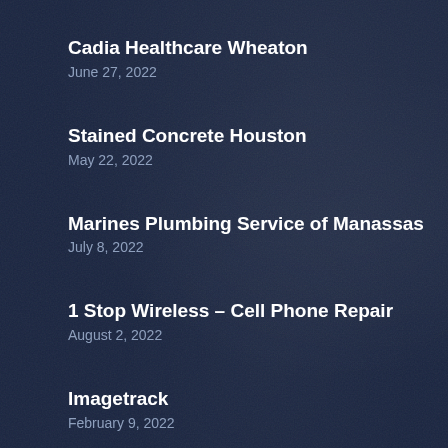Cadia Healthcare Wheaton
June 27, 2022
Stained Concrete Houston
May 22, 2022
Marines Plumbing Service of Manassas
July 8, 2022
1 Stop Wireless – Cell Phone Repair
August 2, 2022
Imagetrack
February 9, 2022